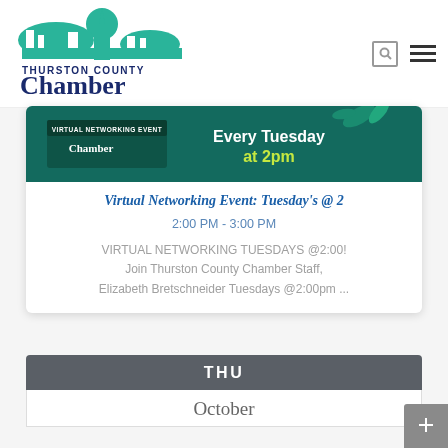[Figure (logo): Thurston County Chamber logo with green cityscape/dome silhouette and dark blue text reading 'THURSTON COUNTY Chamber']
[Figure (illustration): Banner image for Virtual Networking Event showing Thurston County Chamber branding with text 'VIRTUAL NETWORKING EVENT' and 'Every Tuesday at 2pm']
Virtual Networking Event: Tuesday's @ 2
2:00 PM - 3:00 PM
VIRTUAL NETWORKING TUESDAYS @2:00! Join Thurston County Chamber Staff, Elizabeth Bretschneider Tuesdays @2:00pm ...
THU
October